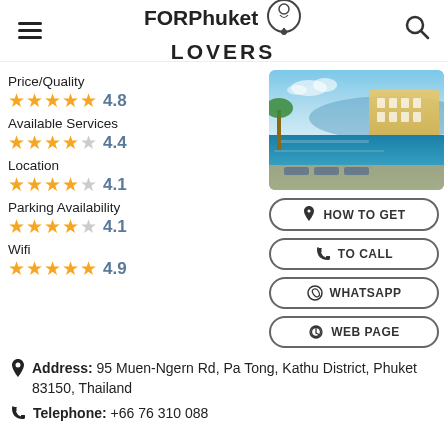FORPhuket LOVERS
Price/Quality 4.8
Available Services 4.4
Location 4.1
Parking Availability 4.1
Wifi 4.9
[Figure (photo): Hotel pool with ocean view at dusk, lounge chairs, palm trees]
HOW TO GET
TO CALL
WHATSAPP
WEB PAGE
Address: 95 Muen-Ngern Rd, Pa Tong, Kathu District, Phuket 83150, Thailand
Telephone: +66 76 310 088